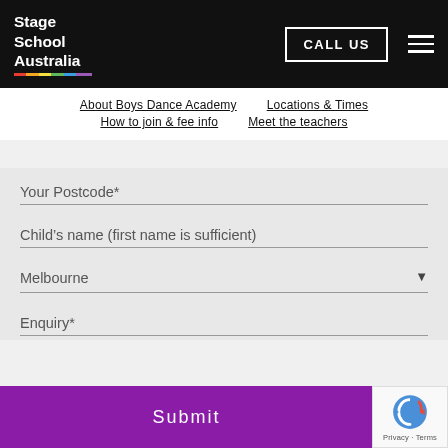Stage School Australia
About Boys Dance Academy
Locations & Times
How to join & fee info
Meet the teachers
Your Postcode*
Child's name (first name is sufficient)
Melbourne
Enquiry*
Submit